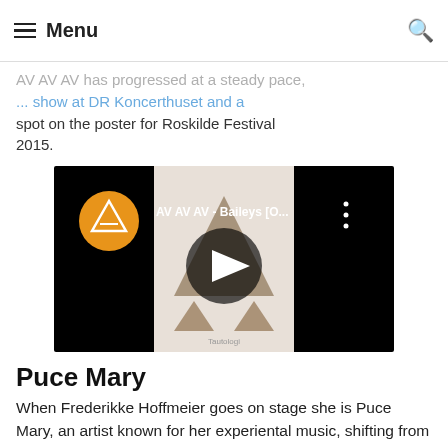Menu
AV AV AV has progressed at a steady pace, ... show at DR Koncerthuset and a spot on the poster for Roskilde Festival 2015.
[Figure (screenshot): YouTube video thumbnail for 'AV AV AV - Baileys [O...' with play button overlay]
Puce Mary
When Frederikke Hoffmeier goes on stage she is Puce Mary, an artist known for her experiental music, shifting from sound art over minimal synth to techno. Puce Mary is released on labels such as Posh Isolation